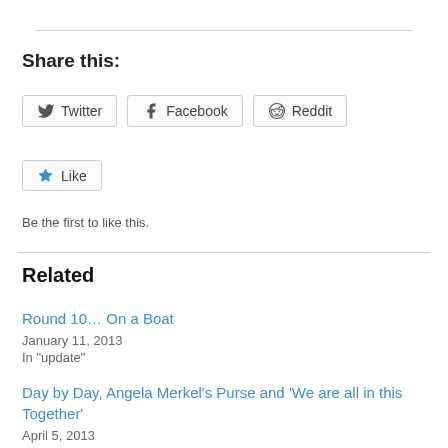Share this:
[Figure (other): Social sharing buttons: Twitter, Facebook, Reddit]
[Figure (other): Like button with star icon]
Be the first to like this.
Related
Round 10… On a Boat
January 11, 2013
In "update"
Day by Day, Angela Merkel’s Purse and ‘We are all in this Together’
April 5, 2013
In "update"